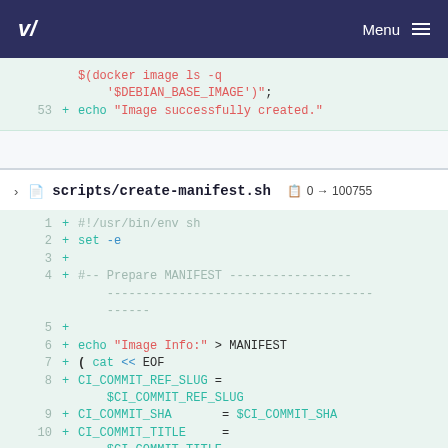Menu
$(docker image ls -q '\$DEBIAN_BASE_IMAGE')";
53  + echo "Image successfully created."
scripts/create-manifest.sh  0 → 100755
1  + #!/usr/bin/env sh
2  + set -e
3  +
4  + #-- Prepare MANIFEST -----------------------------------------
5  +
6  + echo "Image Info:" > MANIFEST
7  + ( cat << EOF
8  + CI_COMMIT_REF_SLUG = $CI_COMMIT_REF_SLUG
9  + CI_COMMIT_SHA      = $CI_COMMIT_SHA
10 + CI_COMMIT_TITLE    = $CI_COMMIT_TITLE